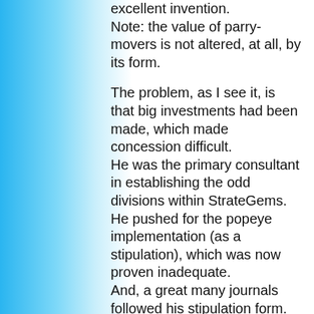excellent invention.
Note: the value of parry-movers is not altered, at all, by its form.

The problem, as I see it, is that big investments had been made, which made concession difficult.
He was the primary consultant in establishing the odd divisions within StrateGems.
He pushed for the popeye implementation (as a stipulation), which was now proven inadequate.
And, a great many journals followed his stipulation form.
I had planned to give him considerable space (and time), to right those ships.
But, as everyone knows, we lost Dan before he could provide any resolution (one way or another).

Remember, it was Petko, not me, who first suggested that Parry Movers (which are just one of many idle-mover conditions) were a fairy condition (not